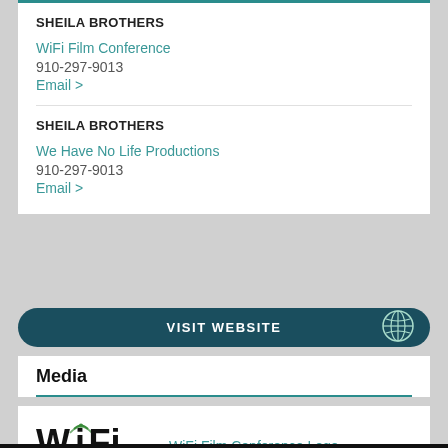SHEILA BROTHERS
WiFi Film Conference
910-297-9013
Email >
SHEILA BROTHERS
We Have No Life Productions
910-297-9013
Email >
VISIT WEBSITE
Media
WiFi Film Conference Logo